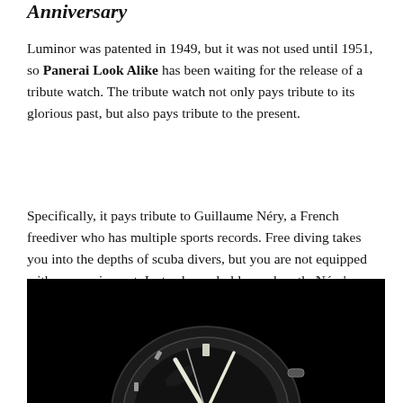Anniversary
Luminor was patented in 1949, but it was not used until 1951, so Panerai Look Alike has been waiting for the release of a tribute watch. The tribute watch not only pays tribute to its glorious past, but also pays tribute to the present.
Specifically, it pays tribute to Guillaume Néry, a French freediver who has multiple sports records. Free diving takes you into the depths of scuba divers, but you are not equipped with any equipment. Instead, you hold your breath. Néry's deepest free diving depth is 139m.
[Figure (photo): Black and white close-up photograph of a Panerai-style watch dial against a dark/black background, showing the watch face with luminous hands and hour markers.]